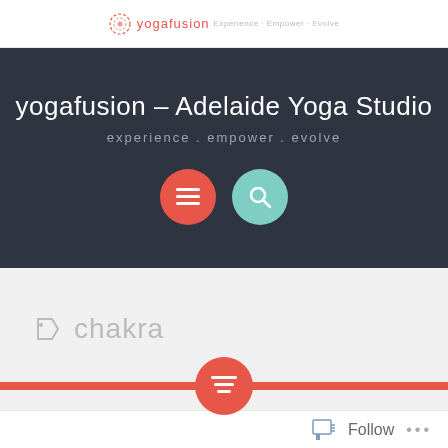yogafusion
yogafusion – Adelaide Yoga Studio
experience . empower . evolve
[Figure (infographic): Two circular icon buttons: a red/coral circle with a hamburger menu icon, and a teal/mint circle with a magnifying glass search icon]
chakra
[Figure (infographic): A coral/red horizontal divider bar with a centered red circle button containing a lines/list icon]
Follow ...